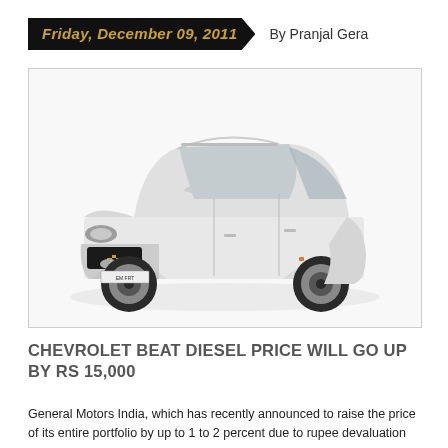Friday, December 09, 2011   By Pranjal Gera
[Figure (photo): A white Chevrolet Beat diesel hatchback car photographed against a white background, front three-quarter view showing the front grille with Chevrolet bowtie logo, headlights, roof rails, and alloy wheels.]
CHEVROLET BEAT DIESEL PRICE WILL GO UP BY RS 15,000
General Motors India, which has recently announced to raise the price of its entire portfolio by up to 1 to 2 percent due to rupee devaluation and inflation, is